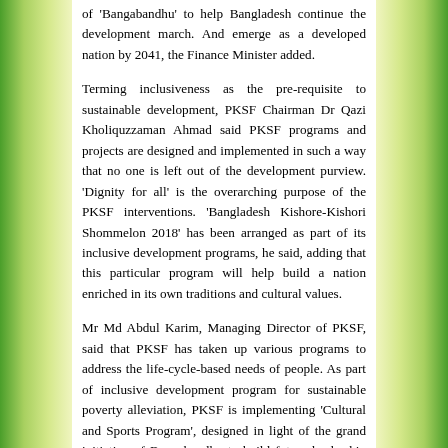of 'Bangabandhu' to help Bangladesh continue the development march. And emerge as a developed nation by 2041, the Finance Minister added.
Terming inclusiveness as the pre-requisite to sustainable development, PKSF Chairman Dr Qazi Kholiquzzaman Ahmad said PKSF programs and projects are designed and implemented in such a way that no one is left out of the development purview. 'Dignity for all' is the overarching purpose of the PKSF interventions. 'Bangladesh Kishore-Kishori Shommelon 2018' has been arranged as part of its inclusive development programs, he said, adding that this particular program will help build a nation enriched in its own traditions and cultural values.
Mr Md Abdul Karim, Managing Director of PKSF, said that PKSF has taken up various programs to address the life-cycle-based needs of people. As part of inclusive development program for sustainable poverty alleviation, PKSF is implementing 'Cultural and Sports Program', designed in light of the grand initiative of Bangabandhu to build future leadership through